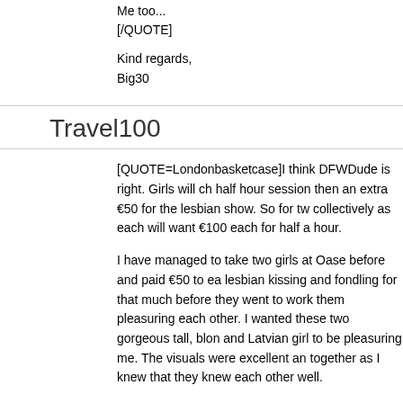Me too...
[/QUOTE]
Kind regards,
Big30
Travel100
[QUOTE=Londonbasketcase]I think DFWDude is right. Girls will ch... half hour session then an extra €50 for the lesbian show. So for tw... collectively as each will want €100 each for half a hour.
I have managed to take two girls at Oase before and paid €50 to ea... lesbian kissing and fondling for that much before they went to work... them pleasuring each other. I wanted these two gorgeous tall, blon... and Latvian girl to be pleasuring me. The visuals were excellent an... together as I knew that they knew each other well.
Kind regards
Londonbasketcase[/QUOTE]
Thanks for the Info and clarification. Don't see 200/euro cost benef... sessions or do like you did and just enjoy 2 gorgeous girls for 100/e...
By the way, I've never done a threesome. Still not sure if it's worth t...